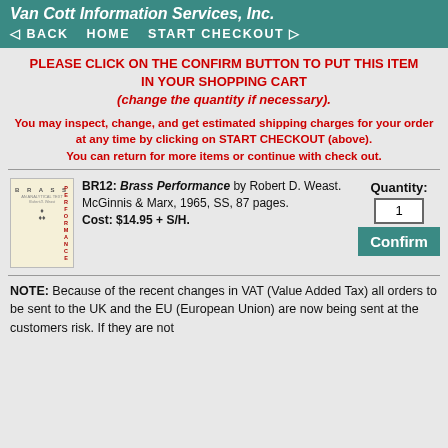Van Cott Information Services, Inc.
BACK   HOME   START CHECKOUT
PLEASE CLICK ON THE CONFIRM BUTTON TO PUT THIS ITEM IN YOUR SHOPPING CART (change the quantity if necessary).
You may inspect, change, and get estimated shipping charges for your order at any time by clicking on START CHECKOUT (above). You can return for more items or continue with check out.
[Figure (illustration): Book cover for Brass Performance showing vertical title text]
BR12: Brass Performance by Robert D. Weast. McGinnis & Marx, 1965, SS, 87 pages. Cost: $14.95 + S/H.
Quantity: 1 Confirm
NOTE: Because of the recent changes in VAT (Value Added Tax) all orders to be sent to the UK and the EU (European Union) are now being sent at the customers risk. If they are not